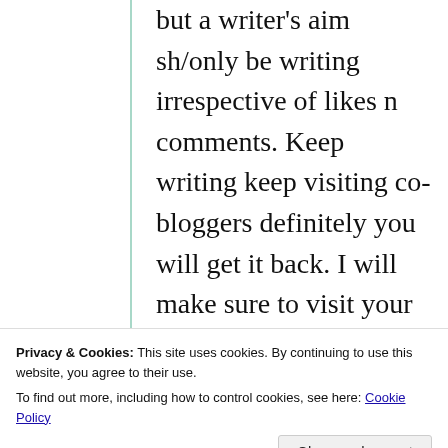but a writer's aim sh/only be writing irrespective of likes n comments. Keep writing keep visiting co-bloggers definitely you will get it back. I will make sure to visit your blog as you did it to mine. Boost up yourself n rise up to the skyline of your blog tag.
Privacy & Cookies: This site uses cookies. By continuing to use this website, you agree to their use. To find out more, including how to control cookies, see here: Cookie Policy
Close and accept